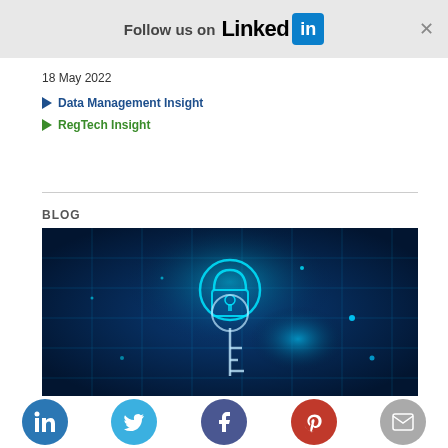Follow us on LinkedIn
18 May 2022
Data Management Insight
RegTech Insight
BLOG
[Figure (photo): Digital security illustration showing a glowing key and padlock on a dark blue background with circuit-like patterns and light effects.]